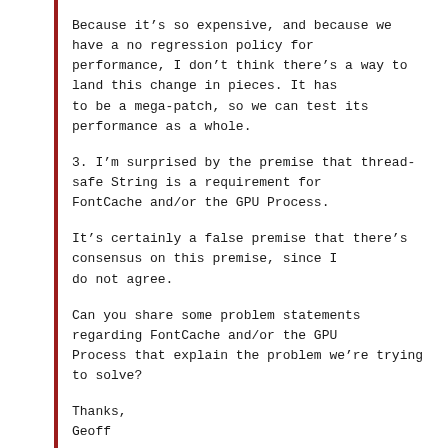Because it's so expensive, and because we have a no regression policy for performance, I don't think there's a way to land this change in pieces. It has to be a mega-patch, so we can test its performance as a whole.
3. I'm surprised by the premise that thread-safe String is a requirement for FontCache and/or the GPU Process.
It's certainly a false premise that there's consensus on this premise, since I do not agree.
Can you share some problem statements regarding FontCache and/or the GPU Process that explain the problem we're trying to solve?
Thanks,
Geoff